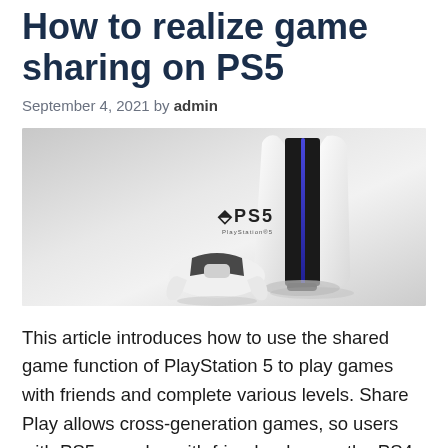How to realize game sharing on PS5
September 4, 2021 by admin
[Figure (photo): PlayStation 5 console and DualSense controller on a neutral gray-white gradient background, with the PS5 logo visible on the console.]
This article introduces how to use the shared game function of PlayStation 5 to play games with friends and complete various levels. Share Play allows cross-generation games, so users with PS5 can play with friends who use the PS4